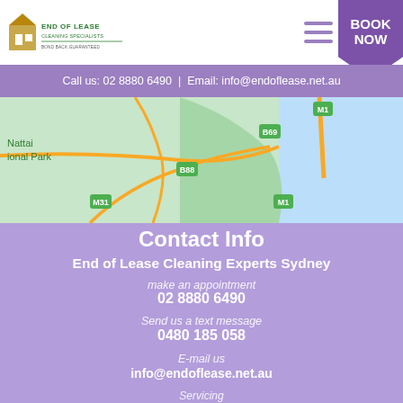END OF LEASE | BOOK NOW
Call us: 02 8880 6490 | Email: info@endoflease.net.au
[Figure (map): Google Maps view showing Nattai National Park area with roads M1, B69, B88, M31 marked]
Contact Info
End of Lease Cleaning Experts Sydney
make an appointment
02 8880 6490
Send us a text message
0480 185 058
E-mail us
info@endoflease.net.au
Servicing